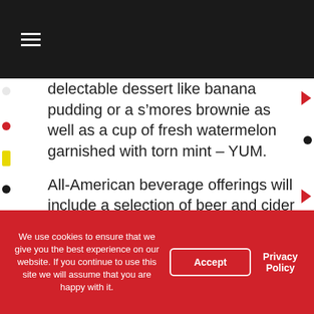Navigation bar with hamburger menu
delectable dessert like banana pudding or a s’mores brownie as well as a cup of fresh watermelon garnished with torn mint – YUM.
All-American beverage offerings will include a selection of beer and cider from around the country, wines from the west coast, and specialty regional cocktails with and without alcohol. Coca-Cola® fountain beverages will also be available to quench your thirst. You’ll also get to enjoy an outdoor bar pouring your favorite craft brews on draft, and the outdoor seating area will be a great place to sit back and sip on a Tennessee
We use cookies to ensure that we give you the best experience on our website. If you continue to use this site we will assume that you are happy with it.
Accept
Privacy Policy